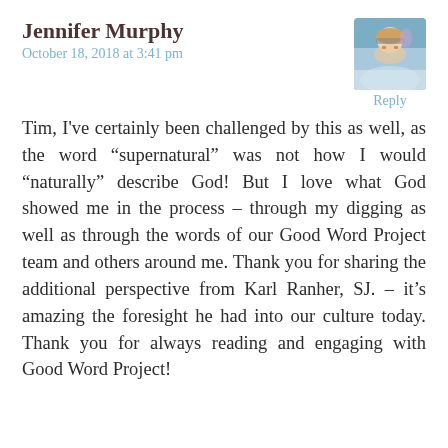Jennifer Murphy
October 18, 2018 at 3:41 pm
[Figure (photo): Profile photo of Jennifer Murphy, a woman with blonde hair and sunglasses outdoors]
Reply
Tim, I've certainly been challenged by this as well, as the word “supernatural” was not how I would “naturally” describe God! But I love what God showed me in the process – through my digging as well as through the words of our Good Word Project team and others around me. Thank you for sharing the additional perspective from Karl Ranher, SJ. – it’s amazing the foresight he had into our culture today. Thank you for always reading and engaging with Good Word Project!